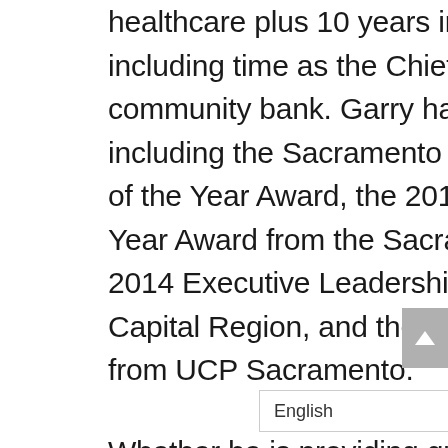healthcare plus 10 years in the banking and finance industry, including time as the Chief Financial Officer for a regional community bank. Garry has enjoyed numerous awards including the Sacramento Metro Chamber 2010 Businessman of the Year Award, the 2011 Individual Arts Leadership of the Year Award from the Sacramento Arts & Business Council, the 2014 Executive Leadership Award from Community Link Capital Region, and the 2015 Humanitarian of the Year Award from UCP Sacramento.
Whether he is providing quality healthcare coverage to employers and individuals or providing expert council t[o] non-profit organizations, Garry Ma[in] is committed to